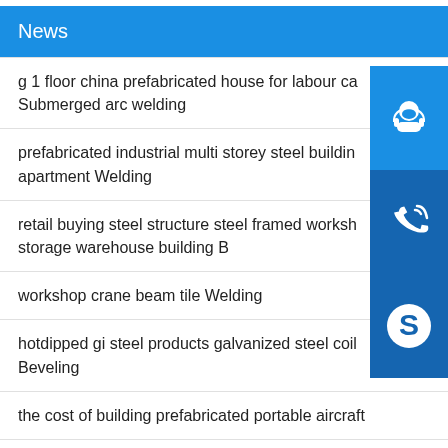News
g 1 floor china prefabricated house for labour ca... Submerged arc welding
prefabricated industrial multi storey steel buildin... apartment Welding
retail buying steel structure steel framed worksh... storage warehouse building B
workshop crane beam tile Welding
hotdipped gi steel products galvanized steel coil Beveling
the cost of building prefabricated portable aircraft